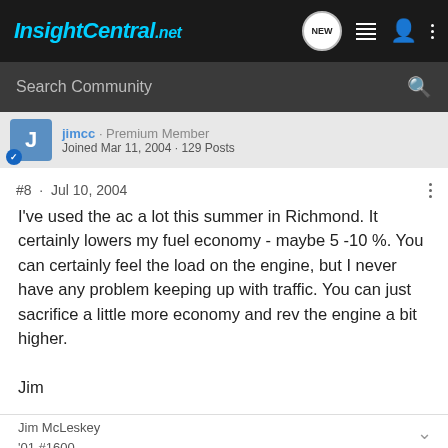InsightCentral.net
Search Community
jimcc · Premium Member
Joined Mar 11, 2004 · 129 Posts
#8 · Jul 10, 2004
I've used the ac a lot this summer in Richmond. It certainly lowers my fuel economy - maybe 5 -10 %. You can certainly feel the load on the engine, but I never have any problem keeping up with traffic. You can just sacrifice a little more economy and rev the engine a bit higher.

Jim
Jim McLeskey
'01 #1600